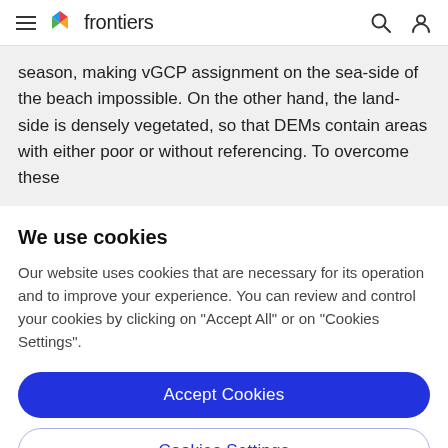frontiers
season, making vGCP assignment on the sea-side of the beach impossible. On the other hand, the land-side is densely vegetated, so that DEMs contain areas with either poor or without referencing. To overcome these
We use cookies
Our website uses cookies that are necessary for its operation and to improve your experience. You can review and control your cookies by clicking on "Accept All" or on "Cookies Settings".
Accept Cookies
Cookies Settings